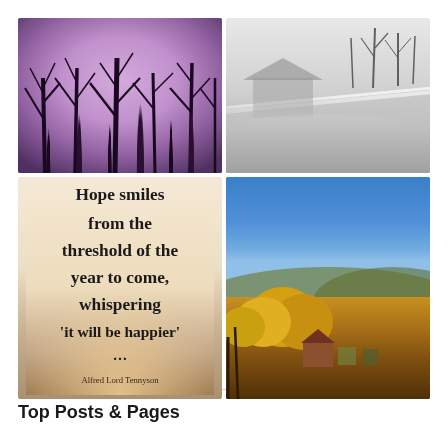[Figure (photo): Top-left photo: bare winter trees silhouetted against a purple/lavender sky]
[Figure (photo): Top-right photo: snowy winter scene in black and white showing snow-covered roof and bare trees]
[Figure (illustration): Bottom-left: inspirational quote image with text 'Hope smiles from the threshold of the year to come, whispering it will be happier'... attributed to Alfred Lord Tennyson, on a warm beige/peach gradient background]
[Figure (photo): Bottom-right photo: autumn landscape with golden/yellow trees, blue sky, and rolling hills with a small town visible]
Top Posts & Pages